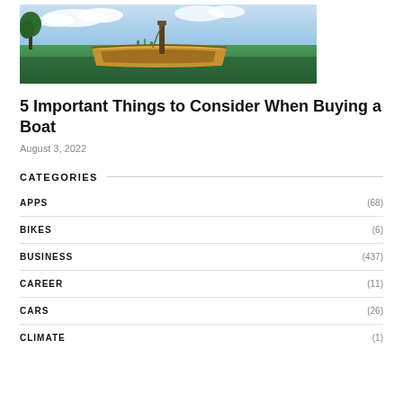[Figure (photo): A wooden rowboat resting on grass near water, with blue sky and clouds reflected in the water, green grass and trees in background.]
5 Important Things to Consider When Buying a Boat
August 3, 2022
CATEGORIES
APPS (68)
BIKES (6)
BUSINESS (437)
CAREER (11)
CARS (26)
CLIMATE (1)